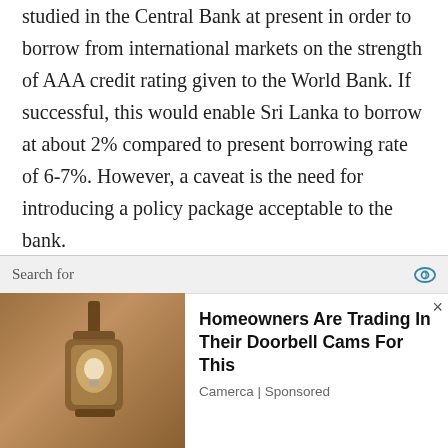studied in the Central Bank at present in order to borrow from international markets on the strength of AAA credit rating given to the World Bank. If successful, this would enable Sri Lanka to borrow at about 2% compared to present borrowing rate of 6-7%. However, a caveat is the need for introducing a policy package acceptable to the bank.
Long-term stability depends on restructuring the economy
These measures will surely help Sri Lanka to generate foreign exchange funds to repay its
[Figure (other): Advertisement overlay: Search bar with eye icon, X close button, and ad for 'Homeowners Are Trading In Their Doorbell Cams For This' by Camerca | Sponsored, with a photo of a light bulb/camera on a wall bracket.]